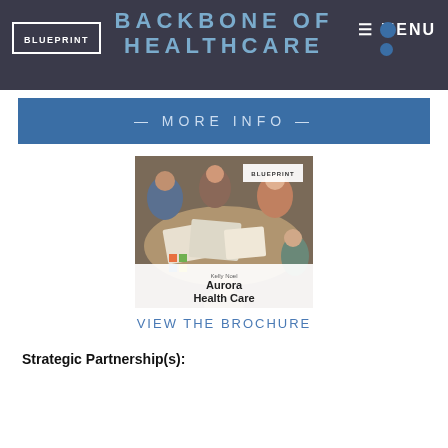BLUEPRINT | BACKBONE OF HEALTHCARE | MENU
— MORE INFO —
[Figure (photo): People collaborating around a table with papers and documents, Blueprint brochure overlay showing Aurora Health Care]
VIEW THE BROCHURE
Strategic Partnership(s):